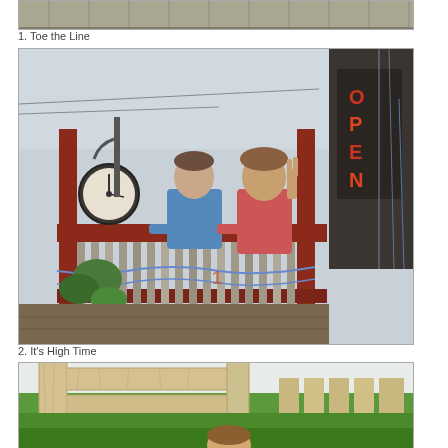[Figure (photo): Top portion of a photo showing a wooden fence/wall background, partially cropped at top of page]
1. Toe the Line
[Figure (photo): Two people (a younger person in blue shirt and an older person in red/pink shirt making a peace sign) leaning on a red wooden deck railing. A decorative clock is visible on the left, and an OPEN sign hangs on the right side. Blue rope/line is strung through the railing balusters.]
2. It's High Time
[Figure (photo): Close-up view looking through light wood fence boards at a green lawn below, with the top of a child's head visible at the bottom center of the frame.]